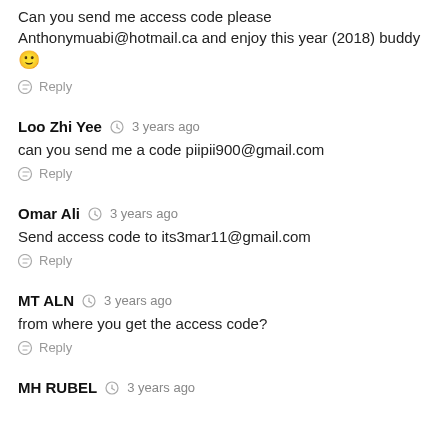Can you send me access code please Anthonymuabi@hotmail.ca and enjoy this year (2018) buddy 🙂
Reply
Loo Zhi Yee  3 years ago
can you send me a code piipii900@gmail.com
Reply
Omar Ali  3 years ago
Send access code to its3mar11@gmail.com
Reply
MT ALN  3 years ago
from where you get the access code?
Reply
MH RUBEL  3 years ago